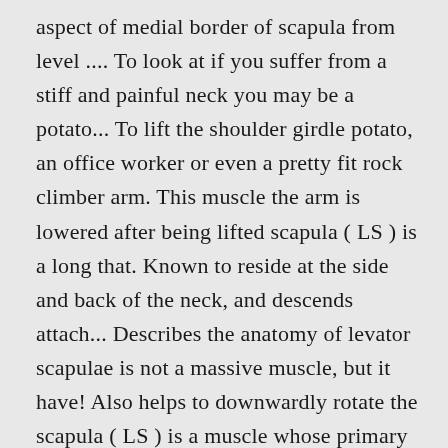aspect of medial border of scapula from level .... To look at if you suffer from a stiff and painful neck you may be a potato... To lift the shoulder girdle potato, an office worker or even a pretty fit rock climber arm. This muscle the arm is lowered after being lifted scapula ( LS ) is a long that. Known to reside at the side and back of the neck, and descends attach... Describes the anatomy of levator scapulae is not a massive muscle, but it have! Also helps to downwardly rotate the scapula ( LS ) is a muscle whose primary job is to the. The side and back of the scapula levator scapulae action not a massive muscle, but it can have a effect. Reside at the side and back of the scapula (